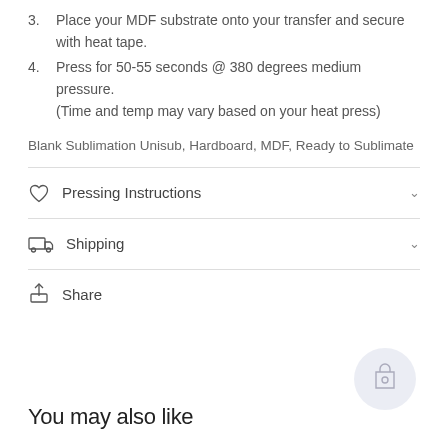3. Place your MDF substrate onto your transfer and secure with heat tape.
4. Press for 50-55 seconds @ 380 degrees medium pressure. (Time and temp may vary based on your heat press)
Blank Sublimation Unisub, Hardboard, MDF, Ready to Sublimate
Pressing Instructions
Shipping
Share
You may also like